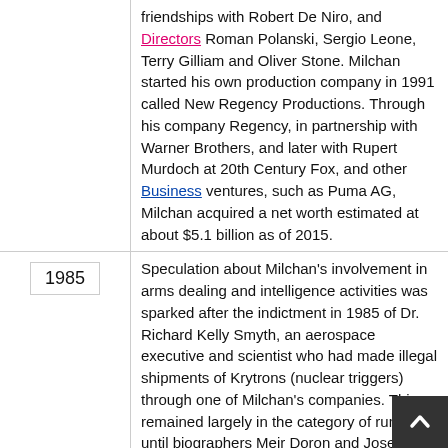friendships with Robert De Niro, and Directors Roman Polanski, Sergio Leone, Terry Gilliam and Oliver Stone. Milchan started his own production company in 1991 called New Regency Productions. Through his company Regency, in partnership with Warner Brothers, and later with Rupert Murdoch at 20th Century Fox, and other Business ventures, such as Puma AG, Milchan acquired a net worth estimated at about $5.1 billion as of 2015.
1985
Speculation about Milchan's involvement in arms dealing and intelligence activities was sparked after the indictment in 1985 of Dr. Richard Kelly Smyth, an aerospace executive and scientist who had made illegal shipments of Krytrons (nuclear triggers) through one of Milchan's companies. This remained largely in the category of rumor until biographers Meir Doron and Joseph Gelman wrote a controversial unauthorized biography of Milchan that was published in July 2011. The biography Confidential, which is largely sympathetic to Milchan, revealed in detail how he involved himself in espionage, big-ticket arms dealing, and